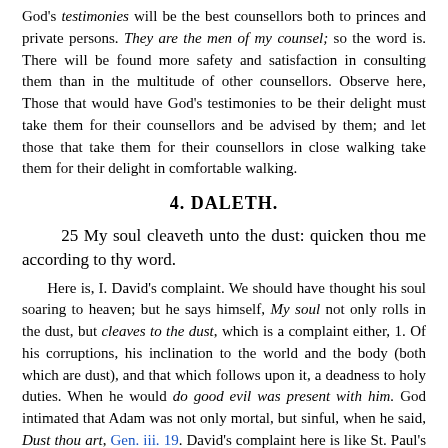God's testimonies will be the best counsellors both to princes and private persons. They are the men of my counsel; so the word is. There will be found more safety and satisfaction in consulting them than in the multitude of other counsellors. Observe here, Those that would have God's testimonies to be their delight must take them for their counsellors and be advised by them; and let those that take them for their counsellors in close walking take them for their delight in comfortable walking.
4. DALETH.
25 My soul cleaveth unto the dust: quicken thou me according to thy word.
Here is, I. David's complaint. We should have thought his soul soaring to heaven; but he says himself, My soul not only rolls in the dust, but cleaves to the dust, which is a complaint either, 1. Of his corruptions, his inclination to the world and the body (both which are dust), and that which follows upon it, a deadness to holy duties. When he would do good evil was present with him. God intimated that Adam was not only mortal, but sinful, when he said, Dust thou art, Gen. iii. 19. David's complaint here is like St. Paul's of a body of death that he carried about with him. The remainders of in-dwelling corruption are a very grievous burden to a gracious soul. Or, 2. Of his afflictions, either trouble of mind or outward